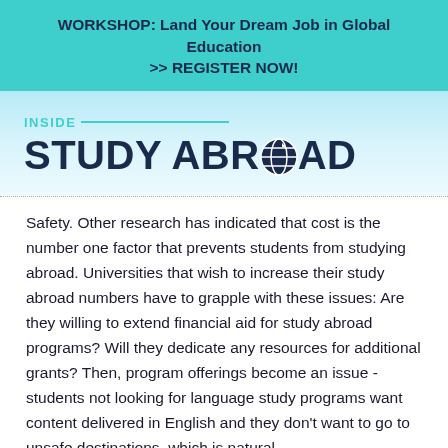WORKSHOP: Land Your Dream Job in Global Education >> REGISTER NOW!
[Figure (logo): Inside Study Abroad logo with teal 'INSIDE' text and horizontal line, followed by large dark navy 'STUDY ABROAD' text with globe icon replacing the letter O in ABROAD]
Safety. Other research has indicated that cost is the number one factor that prevents students from studying abroad. Universities that wish to increase their study abroad numbers have to grapple with these issues: Are they willing to extend financial aid for study abroad programs? Will they dedicate any resources for additional grants? Then, program offerings become an issue - students not looking for language study programs want content delivered in English and they don't want to go to unsafe destinations, which is natural.